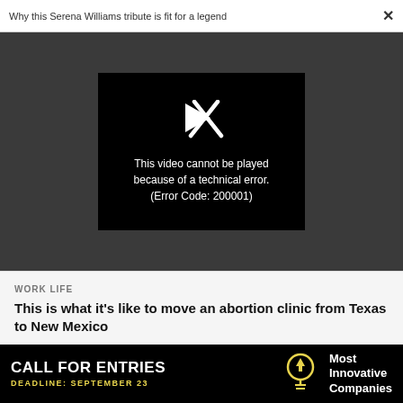Why this Serena Williams tribute is fit for a legend  ×
[Figure (screenshot): Video player showing error: 'This video cannot be played because of a technical error. (Error Code: 200001)' on dark background with broken play icon]
This video cannot be played because of a technical error. (Error Code: 200001)
WORK LIFE
This is what it's like to move an abortion clinic from Texas to New Mexico
WORK LIFE
[Figure (infographic): Advertisement banner: CALL FOR ENTRIES — DEADLINE: SEPTEMBER 23 — Most Innovative Companies, with lightbulb logo, black background with yellow and white text]